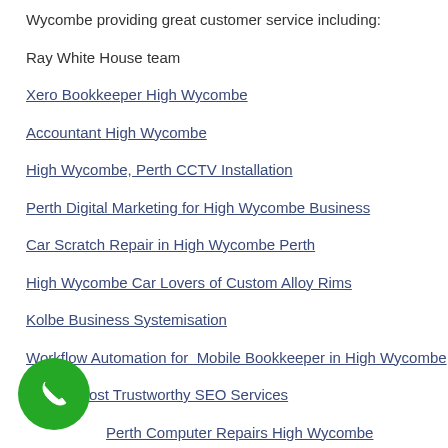Wycombe providing great customer service including:
Ray White House team
Xero Bookkeeper High Wycombe
Accountant High Wycombe
High Wycombe, Perth CCTV Installation
Perth Digital Marketing for High Wycombe Business
Car Scratch Repair in High Wycombe Perth
High Wycombe Car Lovers of Custom Alloy Rims
Kolbe Business Systemisation
Workflow Automation for  Mobile Bookkeeper in High Wycombe
Perth's Most Trustworthy SEO Services
Perth Computer Repairs High Wycombe
[Figure (other): Green circular phone/call button icon in bottom left corner]